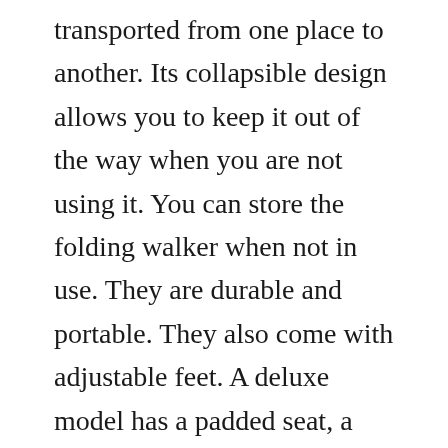transported from one place to another. Its collapsible design allows you to keep it out of the way when you are not using it. You can store the folding walker when not in use. They are durable and portable. They also come with adjustable feet. A deluxe model has a padded seat, a table top, and adjustable brakes. You can also find one with a seat and wheels.
The foldable Medline walker is convenient to use and can be easily transported from one place to another. Its lightweight design makes it easy to store when not in use and is HSA-